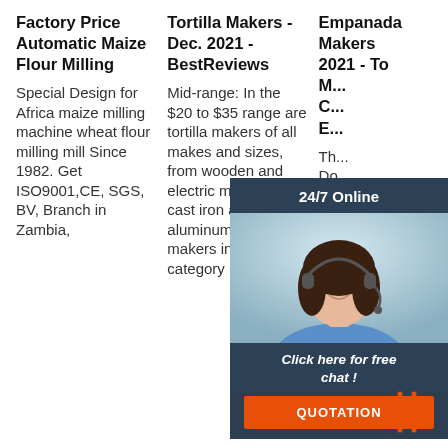Factory Price Automatic Maize Flour Milling
Special Design for Africa maize milling machine wheat flour milling mill Since 1982. Get ISO9001,CE, SGS, BV, Branch in Zambia,
Tortilla Makers - Dec. 2021 - BestReviews
Mid-range: In the $20 to $35 range are tortilla makers of all makes and sizes, from wooden and electric models to cast iron and aluminum. Tortilla makers in this category
Empanada Makers 2021 - To M... C... E...
Th... Do... it ... va... di... making Empanadas, Arepas, or even scrambled
[Figure (other): Customer service chat widget with agent photo, '24/7 Online' header, 'Click here for free chat!' message, and orange QUOTATION button]